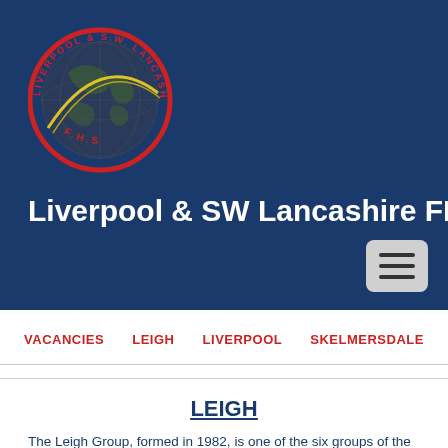[Figure (logo): Liverpool & SW Lancashire FHS circular logo with globe and text around the border reading LIVERPOOL & S.W. LANCASHIRE F.H.S., on a dark blue background]
Liverpool & SW Lancashire FHS
VACANCIES
LEIGH
LIVERPOOL
SKELMERSDALE
LEIGH
The Leigh Group, formed in 1982, is one of the six groups of the Liverpool and South West Lancashire Family History Society. Meetings are held in the Derby Room at Leigh Library throughout the winter